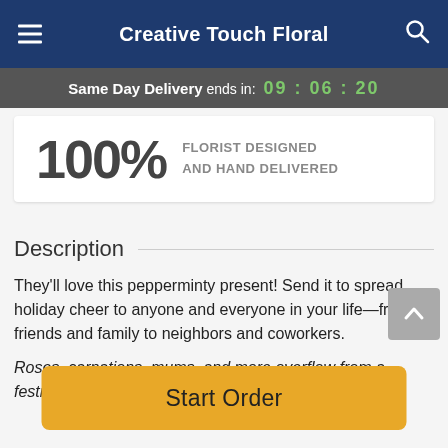Creative Touch Floral
Same Day Delivery ends in: 09 : 06 : 20
100% FLORIST DESIGNED AND HAND DELIVERED
Description
They'll love this pepperminty present! Send it to spread holiday cheer to anyone and everyone in your life—from friends and family to neighbors and coworkers.
Roses, carnations, mums, and more overflow from a festive basket.
Start Order